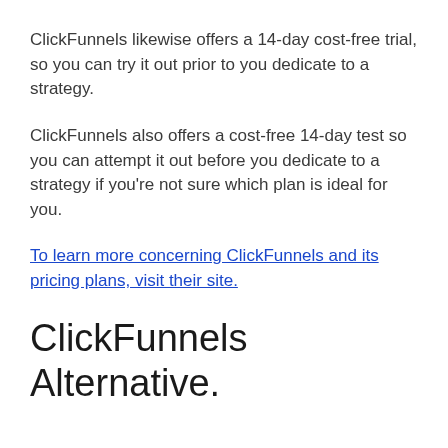ClickFunnels likewise offers a 14-day cost-free trial, so you can try it out prior to you dedicate to a strategy.
ClickFunnels also offers a cost-free 14-day test so you can attempt it out before you dedicate to a strategy if you're not sure which plan is ideal for you.
To learn more concerning ClickFunnels and its pricing plans, visit their site.
ClickFunnels Alternative.